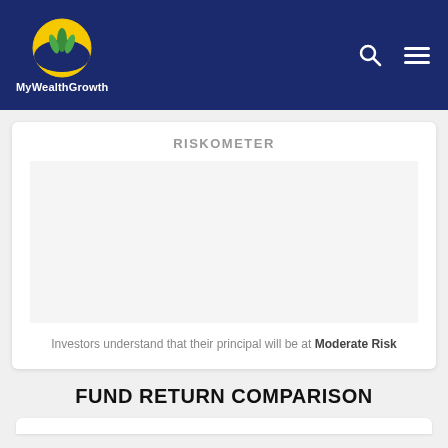MyWealthGrowth
RISKOMETER
Investors understand that their principal will be at Moderate Risk
FUND RETURN COMPARISON